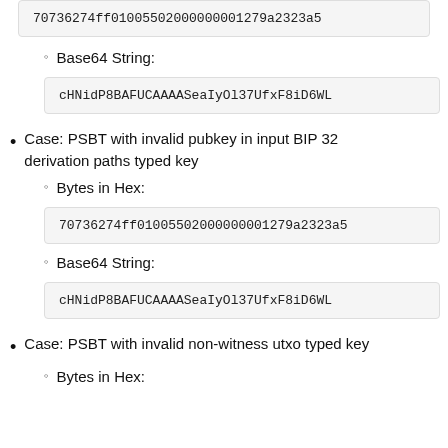70736274ff01005502000000001279a2323a5...
Base64 String:
cHNidP8BAFUCAAAASeaIyOl37UfxF8iD6WL...
Case: PSBT with invalid pubkey in input BIP 32 derivation paths typed key
Bytes in Hex:
70736274ff01005502000000001279a2323a5...
Base64 String:
cHNidP8BAFUCAAAASeaIyOl37UfxF8iD6WL...
Case: PSBT with invalid non-witness utxo typed key
Bytes in Hex: